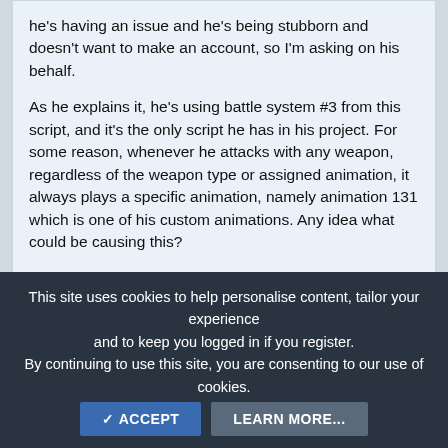he's having an issue and he's being stubborn and doesn't want to make an account, so I'm asking on his behalf.

As he explains it, he's using battle system #3 from this script, and it's the only script he has in his project. For some reason, whenever he attacks with any weapon, regardless of the weapon type or assigned animation, it always plays a specific animation, namely animation 131 which is one of his custom animations. Any idea what could be causing this?
CobaltDoom
This site uses cookies to help personalise content, tailor your experience and to keep you logged in if you register.
By continuing to use this site, you are consenting to our use of cookies.